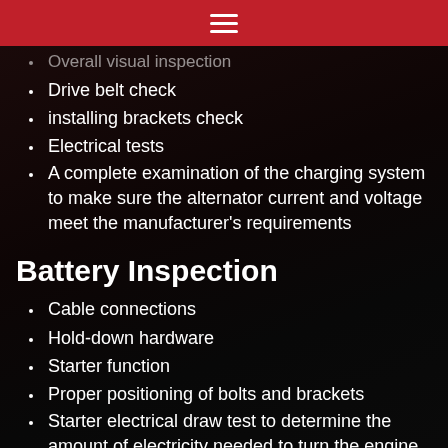≡
Overall visual inspection
Drive belt check
installing brackets check
Electrical tests
A complete examination of the charging system to make sure the alternator current and voltage meet the manufacturer's requirements
Battery Inspection
Cable connections
Hold-down hardware
Starter function
Proper positioning of bolts and brackets
Starter electrical draw test to determine the amount of electricity needed to turn the engine